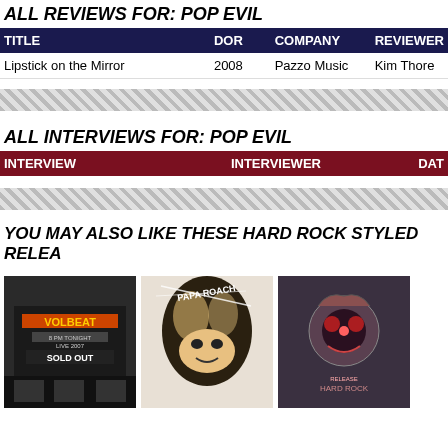ALL REVIEWS FOR: POP EVIL
| TITLE | DOR | COMPANY | REVIEWER |
| --- | --- | --- | --- |
| Lipstick on the Mirror | 2008 | Pazzo Music | Kim Thore |
ALL INTERVIEWS FOR: POP EVIL
| INTERVIEW | INTERVIEWER | DATE |
| --- | --- | --- |
YOU MAY ALSO LIKE THESE HARD ROCK STYLED RELEA...
[Figure (photo): Volbeat album cover - live show marquee sign reading VOLBEAT SOLD OUT]
[Figure (photo): Papa Roach album cover - close up of screaming face with hair and band name text]
[Figure (photo): Hard rock album cover - skull/rose imagery with band name]